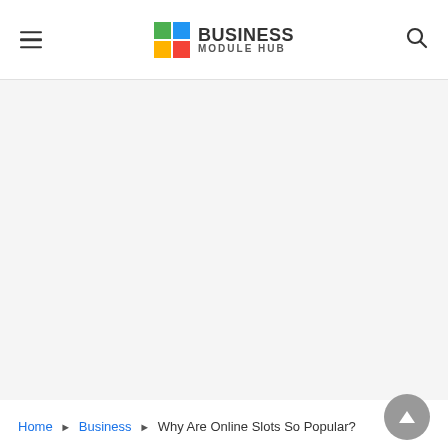Business Module Hub
[Figure (other): Large blank/white advertisement or content area below the header]
Home ▶ Business ▶ Why Are Online Slots So Popular?